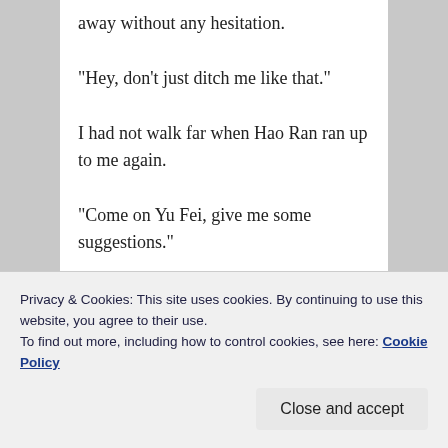away without any hesitation.
“Hey, don’t just ditch me like that.”
I had not walk far when Hao Ran ran up to me again.
“Come on Yu Fei, give me some suggestions.”
“Why should I? Just go home and accept your fate.”
My patience was starting to wear thin. Hao Ran seemed to have noticed the change in my mood and placed a hand on my shoulder, asking me softly, “Did something bad happen?”
Privacy & Cookies: This site uses cookies. By continuing to use this website, you agree to their use.
To find out more, including how to control cookies, see here: Cookie Policy